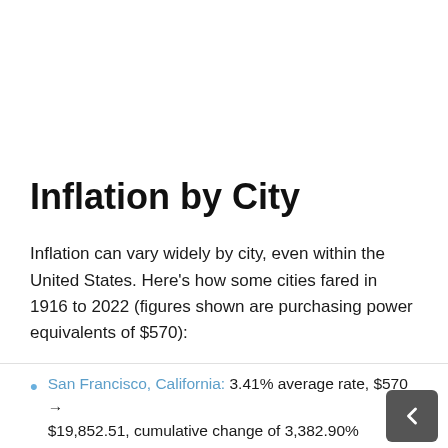Inflation by City
Inflation can vary widely by city, even within the United States. Here's how some cities fared in 1916 to 2022 (figures shown are purchasing power equivalents of $570):
San Francisco, California: 3.41% average rate, $570 → $19,852.51, cumulative change of 3,382.90%